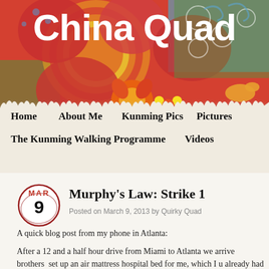[Figure (illustration): Colorful decorative blog header banner with Chinese-inspired floral and circular patterns in red, orange, yellow, green and blue]
China Quad
Home  About Me  Kunming Pics  Pictures  The Kunming Walking Programme  Videos
Murphy's Law: Strike 1
Posted on March 9, 2013 by Quirky Quad
A quick blog post from my phone in Atlanta:
After a 12 and a half hour drive from Miami to Atlanta we arrive brothers set up an air mattress hospital bed for me, which I u already had some guests. A elle also diarrhea had also tried this